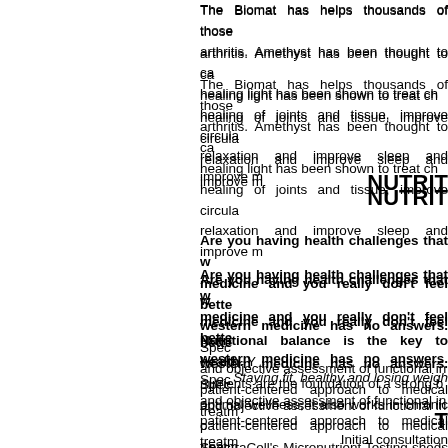The Biomat has helps thousands of those with arthritis. Amethyst has been thought to ca... healing light has been shown to treat ch... healing of joints and tissue, improve circula... relaxation and improve sleep and improve m...
NUTRIT
Are you having health challenges that w... medicine and you really don't feel bette... western medicine has no answers. Spec... and objective assessment of functional in... patient-centered approach to medical treatm...
Nutritional balance is the key to health. Y... nutrients are the foundation of a strong b... optimal wellness, it also works in chronic c... SpectraCell's Micronutrient Testing sheds l... with routine testing and which can help i... concerns. It measures the functional levels... within your white blood cells. Nutrient leve... which allows us to customize a plan to supp...
Staying fit, healthy and losing weigh...
T
Initial consultation...